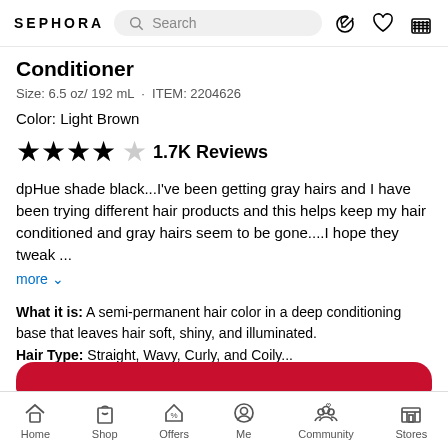SEPHORA  Search
Conditioner
Size: 6.5 oz/ 192 mL  ·  ITEM: 2204626
Color: Light Brown
★★★★☆  1.7K Reviews
dpHue shade black...I've been getting gray hairs and I have been trying different hair products and this helps keep my hair conditioned and gray hairs seem to be gone....I hope they tweak … more
What it is: A semi-permanent hair color in a deep conditioning base that leaves hair soft, shiny, and illuminated. Hair Type: Straight, Wavy, Curly, and Coily… more
Home  Shop  Offers  Me  Community  Stores